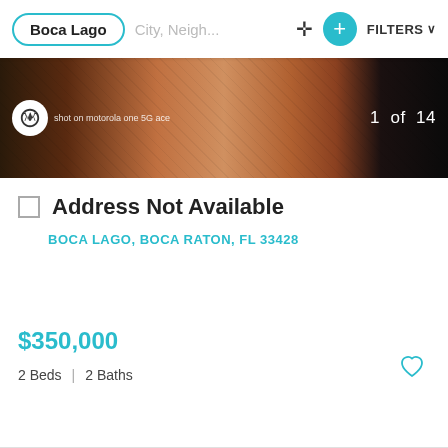Boca Lago | City, Neigh... | FILTERS
[Figure (photo): Interior photo of a room with a Persian/Oriental rug, dark surroundings, with Motorola logo overlay and caption text. Counter shows 1 of 14.]
Address Not Available
BOCA LAGO, BOCA RATON, FL 33428
$350,000
2 Beds | 2 Baths